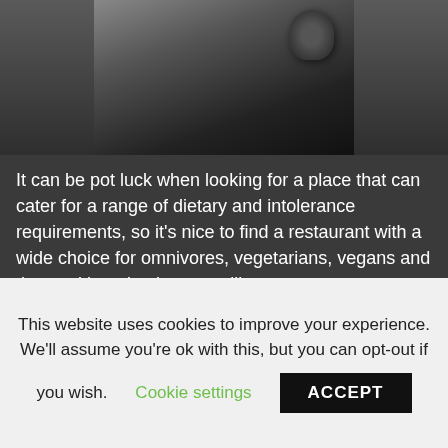[Figure (photo): Partial photo of a dark restaurant or kitchen scene with metallic object visible at top right]
It can be pot luck when looking for a place that can cater for a range of dietary and intolerance requirements, so it's nice to find a restaurant with a wide choice for omnivores, vegetarians, vegans and those with an intolerance alike.
Henry Wong's menu highlights both contemporary and classic Cantonese dishes and as the ingredients used are fresh, they can be adapted where needed.
To highlight the gluten free options available, a few
This website uses cookies to improve your experience. We'll assume you're ok with this, but you can opt-out if you wish. Cookie settings ACCEPT